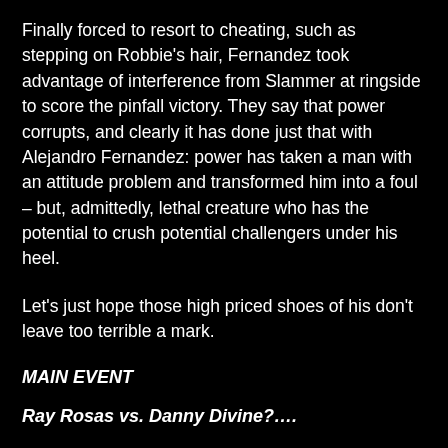Finally forced to resort to cheating, such as stepping on Robbie's hair, Fernandez took advantage of interference from Slammer at ringside to score the pinfall victory. They say that power corrupts, and clearly it has done just that with Alejandro Fernandez: power has taken a man with an attitude problem and transformed him into a foul – but, admittedly, lethal creature who has the potential to crush potential challengers under his heel.
Let's just hope those high priced shoes of his don't leave too terrible a mark.
MAIN EVENT
Ray Rosas vs. Danny Divine?....
Nope.